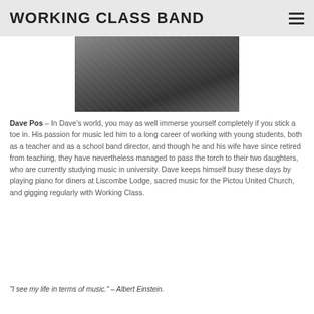WORKING CLASS BAND
[Figure (photo): Black and white photo of Dave Pos, partially visible, showing his face and upper body]
Dave Pos – In Dave's world, you may as well immerse yourself completely if you stick a toe in. His passion for music led him to a long career of working with young students, both as a teacher and as a school band director, and though he and his wife have since retired from teaching, they have nevertheless managed to pass the torch to their two daughters, who are currently studying music in university. Dave keeps himself busy these days by playing piano for diners at Liscombe Lodge, sacred music for the Pictou United Church, and gigging regularly with Working Class.
“I see my life in terms of music.” – Albert Einstein.